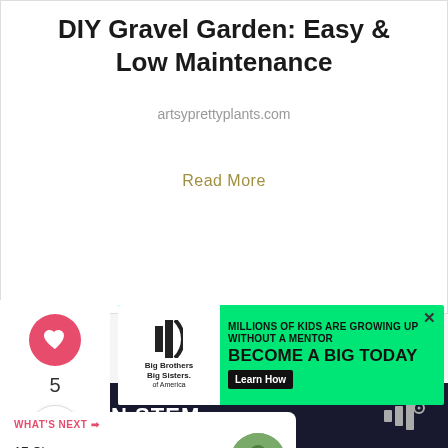DIY Gravel Garden: Easy & Low Maintenance
artsyprettyplants.com
Read More
[Figure (other): Heart/like button icon showing a heart symbol in a pink circle with count 5 below]
[Figure (other): Share button icon with arrow and plus symbol]
[Figure (other): Advertisement banner: Big Brothers Big Sisters. Green background. Text: MILLIONS OF KIDS ARE GROWING UP WITHOUT A MENTOR. BECOME A BIG TODAY. Learn How button.]
WHAT'S NEXT →
17 Cheap Garden Path...
SHE CAN STEM